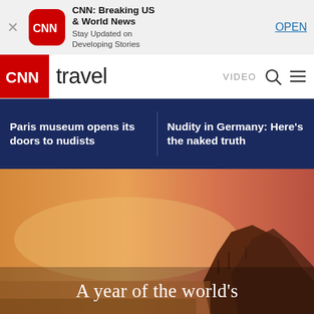[Figure (screenshot): CNN app banner with red CNN logo icon, app title 'CNN: Breaking US & World News', subtitle 'Stay Updated on Developing Stories', and blue OPEN link]
CNN travel | VIDEO
Paris museum opens its doors to nudists
Nudity in Germany: Here's the naked truth
[Figure (photo): Hero image with warm sunset tones showing coastal cliffs, overlaid with text 'A year of the world's']
A year of the world's